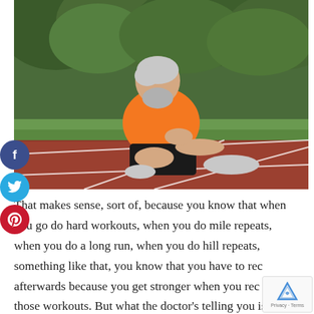[Figure (photo): Older man with white hair and beard, wearing orange t-shirt and black shorts, sitting on a red running track with white lane lines, with green trees/bushes in the background.]
That makes sense, sort of, because you know that when you go do hard workouts, when you do mile repeats, when you do a long run, when you do hill repeats, something like that, you know that you have to rec afterwards because you get stronger when you rec after those workouts. But what the doctor's telling you is